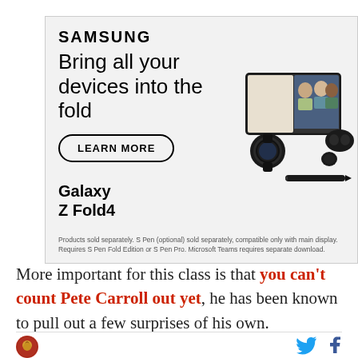[Figure (advertisement): Samsung Galaxy Z Fold4 advertisement. Shows Samsung logo, headline 'Bring all your devices into the fold', a 'LEARN MORE' button, Galaxy Z Fold4 product text, images of the phone unfolded showing video call, a watch, earbuds, and stylus. Small disclaimer text at bottom.]
More important for this class is that you can't count Pete Carroll out yet, he has been known to pull out a few surprises of his own.
[Figure (logo): Sports team logo - circular red/gold horse emblem]
[Figure (logo): Twitter bird icon and Facebook f icon]